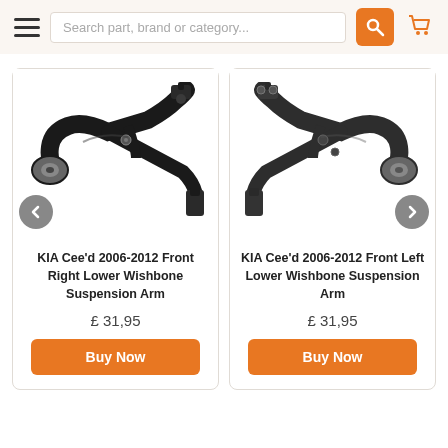[Figure (screenshot): E-commerce website header with hamburger menu, search bar, search button, and cart icon]
[Figure (photo): KIA Cee'd 2006-2012 Front Right Lower Wishbone Suspension Arm - black metal component]
KIA Cee'd 2006-2012 Front Right Lower Wishbone Suspension Arm
£ 31,95
[Figure (photo): KIA Cee'd 2006-2012 Front Left Lower Wishbone Suspension Arm - dark grey metal component]
KIA Cee'd 2006-2012 Front Left Lower Wishbone Suspension Arm
£ 31,95